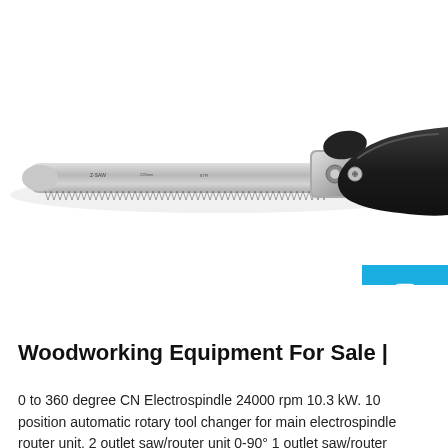[Figure (photo): A folding hand saw with a silver serrated blade extended and a black ergonomic handle, photographed on a white background. A blue 'Free Chat' badge/widget overlaps the right side.]
Woodworking Equipment For Sale |
0 to 360 degree CN Electrospindle 24000 rpm 10.3 kW. 10 position automatic rotary tool changer for main electrospindle router unit. 2 outlet saw/router unit 0-90° 1 outlet saw/router aggregate with 180mm blade.